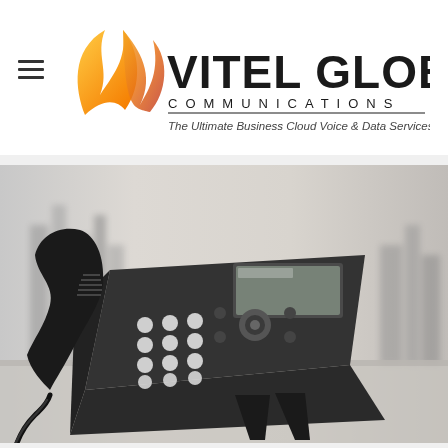[Figure (logo): Vitel Global Communications logo with orange/flame swoosh graphic and text 'VITEL GLOBAL COMMUNICATIONS - The Ultimate Business Cloud Voice & Data Services']
[Figure (photo): Close-up photograph of a black office desk VoIP telephone with handset, keypad, and display screen, blurred city skyline in background]